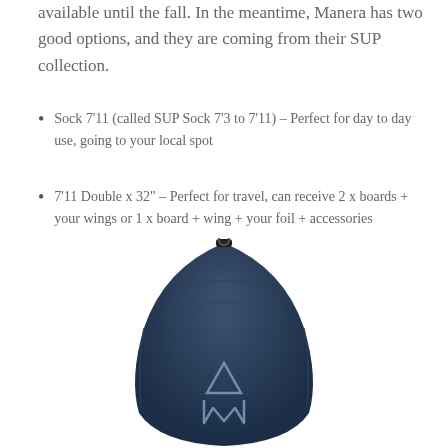available until the fall. In the meantime, Manera has two good options, and they are coming from their SUP collection.
Sock 7'11 (called SUP Sock 7'3 to 7'11) – Perfect for day to day use, going to your local spot
7'11 Double x 32" – Perfect for travel, can receive 2 x boards + your wings or 1 x board + wing + your foil + accessories
[Figure (photo): Top-down view of a navy blue Manera SUP board bag with the Manera logo (stylized M with triangle above) visible on the surface.]